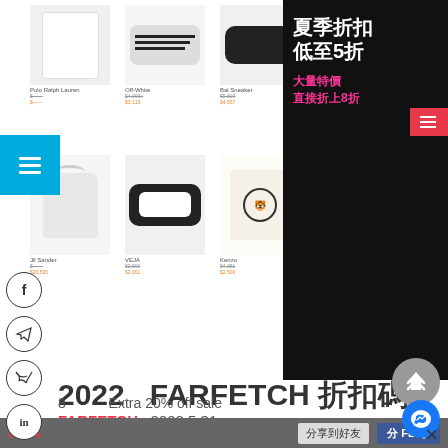[Figure (screenshot): Farfetch website screenshot showing product grid with shoes, bags, t-shirts. Ad banner on right in black background with Chinese text '夏季折扣低至5折' (Summer sale up to 50% off) and '大量特價直接折上8折']
2022  FARFETCH 折扣碼
FARFETCH  2022 5 31
2022  5
8  Extra 20% off sale
8  4
分享到FB好友